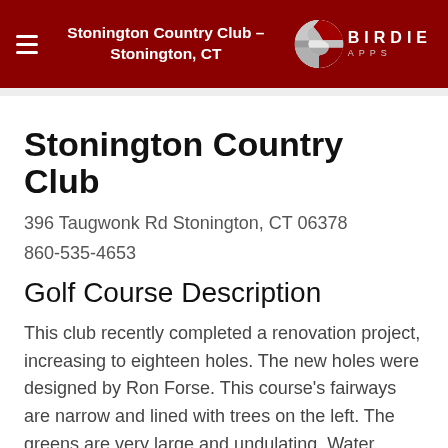Stonington Country Club – Stonington, CT
Stonington Country Club
396 Taugwonk Rd Stonington, CT 06378
860-535-4653
Golf Course Description
This club recently completed a renovation project, increasing to eighteen holes. The new holes were designed by Ron Forse. This course's fairways are narrow and lined with trees on the left. The greens are very large and undulating. Water hazards come into play on a handful